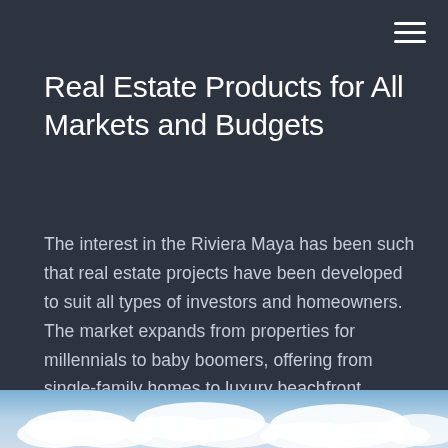Real Estate Products for All Markets and Budgets
The interest in the Riviera Maya has been such that real estate projects have been developed to suit all types of investors and homeowners. The market expands from properties for millennials to baby boomers, offering from single-family homes to luxury beachfront apartments, and everything in between.
[Figure (photo): Sky with white clouds visible at the bottom of the page]